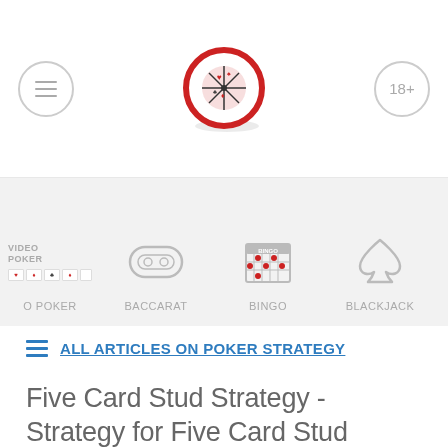Menu | Poker chip logo | 18+
[Figure (screenshot): Navigation strip showing casino game categories: Video Poker, Baccarat, Bingo, Blackjack with icons]
ALL ARTICLES ON POKER STRATEGY
Five Card Stud Strategy - Strategy for Five Card Stud Poker